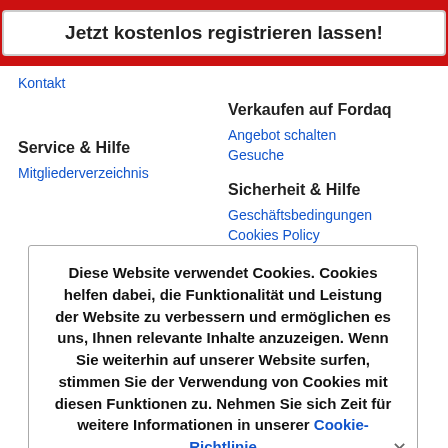Jetzt kostenlos registrieren lassen!
Kontakt
Verkaufen auf Fordaq
Angebot schalten
Gesuche
Service & Hilfe
Sicherheit & Hilfe
Mitgliederverzeichnis
Geschäftsbedingungen
Cookies Policy
Fordaq Datenschutzerklärung
Diese Website verwendet Cookies. Cookies helfen dabei, die Funktionalität und Leistung der Website zu verbessern und ermöglichen es uns, Ihnen relevante Inhalte anzuzeigen. Wenn Sie weiterhin auf unserer Website surfen, stimmen Sie der Verwendung von Cookies mit diesen Funktionen zu. Nehmen Sie sich Zeit für weitere Informationen in unserer Cookie-Richtlinie